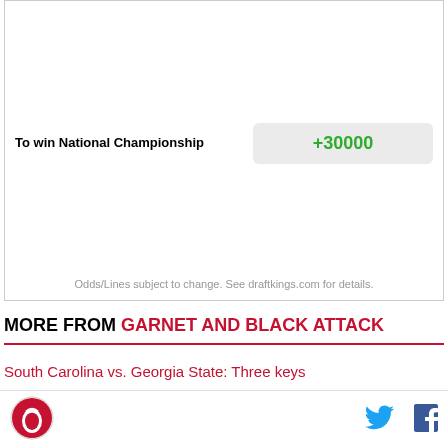|  | Odds |
| --- | --- |
| To win National Championship | +30000 |
Odds/Lines subject to change. See draftkings.com for details.
MORE FROM GARNET AND BLACK ATTACK
South Carolina vs. Georgia State: Three keys
Odds: South Carolina double-digit favorites to open the